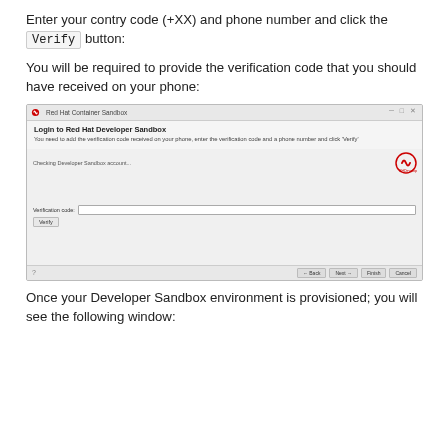Enter your contry code (+XX) and phone number and click the Verify button:
You will be required to provide the verification code that you should have received on your phone:
[Figure (screenshot): Screenshot of Red Hat Developer Sandbox login dialog. Shows 'Login to Red Hat Developer Sandbox' title with Red Hat logo. Contains a 'Verification code:' input field and a 'Verify' button. Footer has Back, Next, Cancel buttons.]
Once your Developer Sandbox environment is provisioned; you will see the following window: